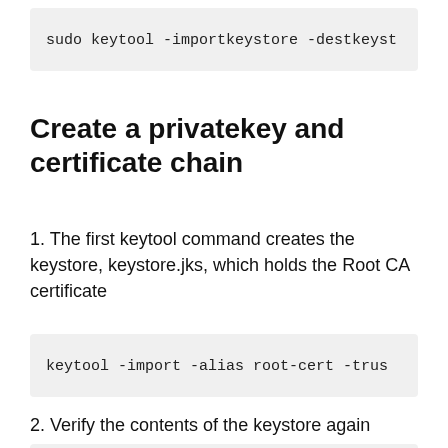sudo keytool -importkeystore -destkeyst
Create a privatekey and certificate chain
1. The first keytool command creates the keystore, keystore.jks, which holds the Root CA certificate
keytool -import -alias root-cert -trus
2. Verify the contents of the keystore again